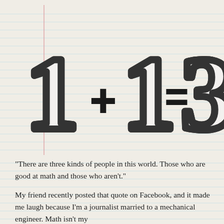[Figure (illustration): Hand-drawn sketched illustration of '1+1=3' in large bold 3D block letters on lined notebook paper background with a red vertical margin line on the left]
“There are three kinds of people in this world. Those who are good at math and those who aren’t.”
My friend recently posted that quote on Facebook, and it made me laugh because I’m a journalist married to a mechanical engineer. Math isn’t my